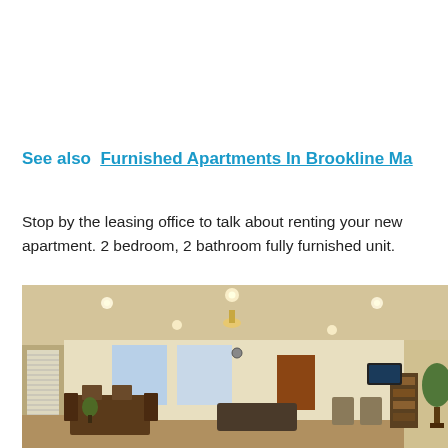See also  Furnished Apartments In Brookline Ma
Stop by the leasing office to talk about renting your new apartment. 2 bedroom, 2 bathroom fully furnished unit.
[Figure (photo): Interior photo of a furnished apartment common room or clubhouse with recessed ceiling lights, dining tables and chairs, a lounge area with striped chairs, bookshelves, a wall-mounted TV, and a potted tree near the entrance.]